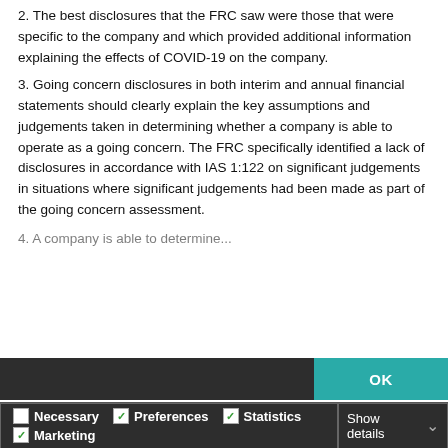2. The best disclosures that the FRC saw were those that were specific to the company and which provided additional information explaining the effects of COVID-19 on the company.
3. Going concern disclosures in both interim and annual financial statements should clearly explain the key assumptions and judgements taken in determining whether a company is able to operate as a going concern. The FRC specifically identified a lack of disclosures in accordance with IAS 1:122 on significant judgements in situations where significant judgements had been made as part of the going concern assessment.
4. [partially visible]
[Figure (screenshot): Cookie consent banner overlay with dark background. Title: 'This website uses cookies'. Body text about personalising content and sharing data. OK button in teal. Checkboxes for Necessary, Preferences, Statistics, Marketing categories with Show details option.]